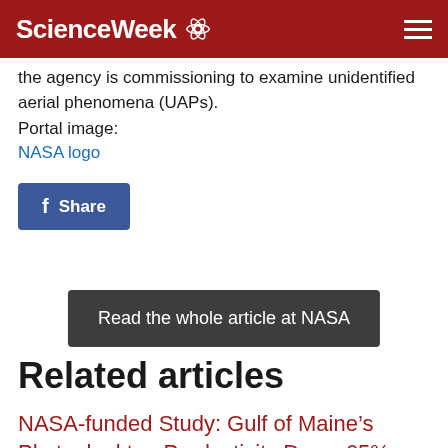ScienceWeek
the agency is commissioning to examine unidentified aerial phenomena (UAPs).
Portal image:
NASA logo
[Figure (other): Facebook Share button]
[Figure (other): Read the whole article at NASA button]
Related articles
NASA-funded Study: Gulf of Maine’s Phytoplankton Productivity Down 65%